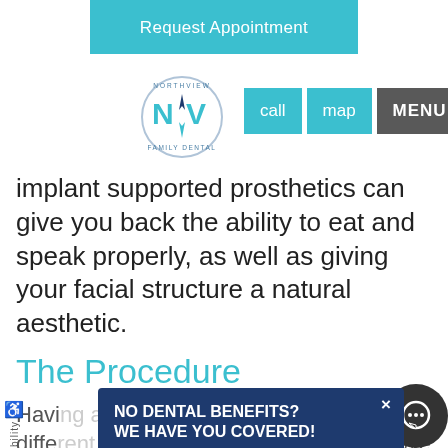Request Appointment
[Figure (logo): Northview Family Dental logo with NV compass rose design]
call  map  MENU
Implant supported prosthetics can give you back the ability to eat and speak properly, as well as giving your facial structure a natural aesthetic.
The Procedure
Having an implant tooth replaced isn't that different from having a tooth extracted. We numb the area before the procedure by applying a local anesthetic. We can offer you any sedation you need to ensure your comfort always comes first, and our Family Dental, so
[Figure (infographic): Popup overlay: NO DENTAL BENEFITS? WE HAVE YOU COVERED! with Join Our Membership Plan link and LEARN MORE green button, with close X button]